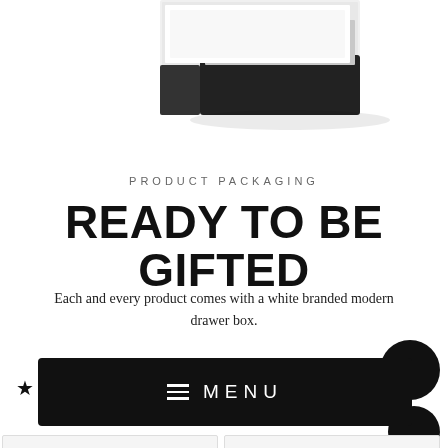[Figure (photo): Partial view of a white and black modern drawer gift box product, cropped at the top of the page]
PRODUCT PACKAGING
READY TO BE GIFTED
Each and every product comes with a white branded modern drawer box.
[Figure (screenshot): Black navigation bar with hamburger menu icon and MENU text in white letters, with star icon on left and circular badge on right]